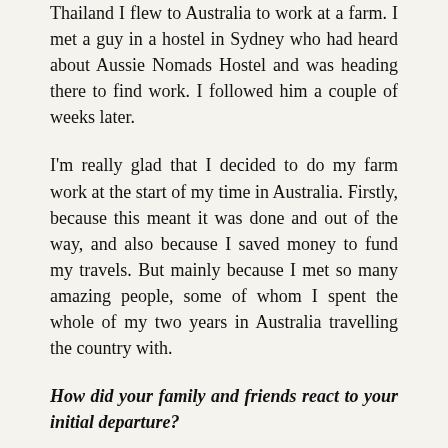Thailand I flew to Australia to work at a farm. I met a guy in a hostel in Sydney who had heard about Aussie Nomads Hostel and was heading there to find work. I followed him a couple of weeks later.
I'm really glad that I decided to do my farm work at the start of my time in Australia. Firstly, because this meant it was done and out of the way, and also because I saved money to fund my travels. But mainly because I met so many amazing people, some of whom I spent the whole of my two years in Australia travelling the country with.
How did your family and friends react to your initial departure?